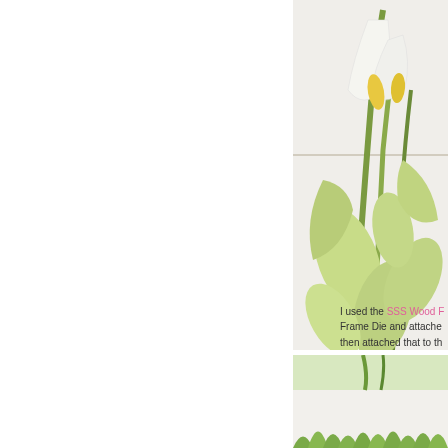[Figure (photo): Photo of green and white calla lily flowers with stems and leaves against a white wooden background, cropped to show right portion of arrangement]
I used the SSS Wood Frame Die and attached... then attached that to th...
[Figure (photo): Partial photo at bottom showing green plants/grass against white background]